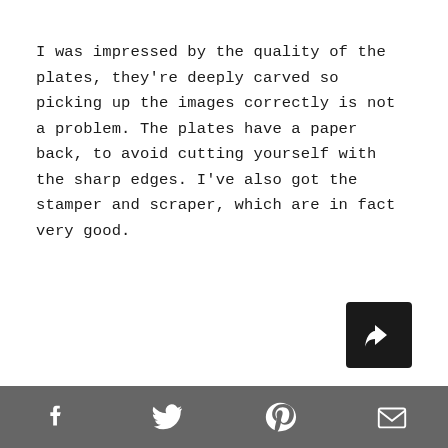I was impressed by the quality of the plates, they're deeply carved so picking up the images correctly is not a problem. The plates have a paper back, to avoid cutting yourself with the sharp edges. I've also got the stamper and scraper, which are in fact very good.
[Figure (other): Dark square share/forward button with a curved arrow icon]
Social share icons: Facebook, Twitter, Pinterest, Email